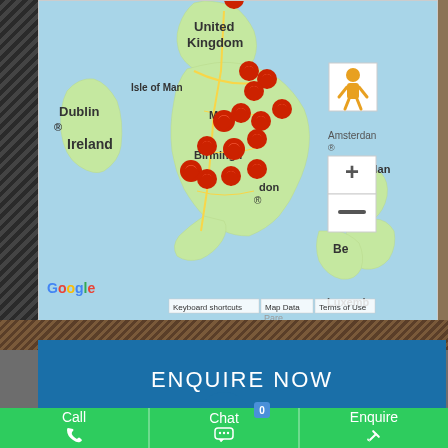[Figure (map): Google Map showing UK with multiple red location pins clustered around England, particularly in the Midlands and South. Shows United Kingdom, Ireland, Isle of Man, Dublin, Manchester, Birmingham, London, Amsterdam, Netherlands, Belgium, Luxembourg labels. Includes Google branding, zoom controls, keyboard shortcuts, Map Data, and Terms of Use.]
ENQUIRE NOW
Call
Chat
Enquire